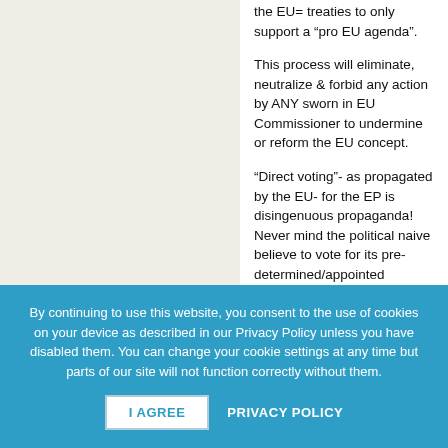the EU= treaties to only support a “pro EU agenda”.
This process will eliminate, neutralize & forbid any action by ANY sworn in EU Commissioner to undermine or reform the EU concept.
“Direct voting”- as propagated by the EU- for the EP is disingenuous propaganda! Never mind the political naive believe to vote for its pre-determined/appointed “Spitzenkandidat”-directly!
PS: All you can vote for at home is your national party- with the hope- it will manage to find a home to “sell its votes” in the EP to the
By continuing to use this website, you consent to the use of cookies on your device as described in our Privacy Policy unless you have disabled them. You can change your cookie settings at any time but parts of our site will not function correctly without them.
I AGREE
PRIVACY POLICY